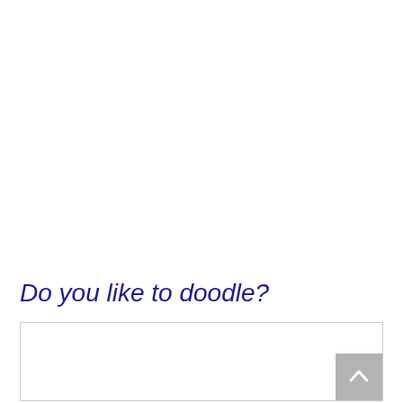Do you like to doodle?
[Figure (other): Empty doodle/drawing box with a light gray border, and a scroll-to-top button in the bottom right corner]